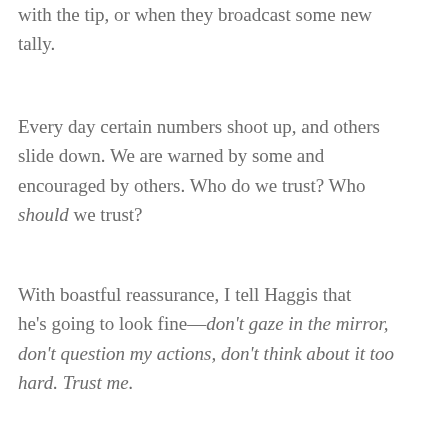with the tip, or when they broadcast some new tally.
Every day certain numbers shoot up, and others slide down. We are warned by some and encouraged by others. Who do we trust? Who should we trust?
With boastful reassurance, I tell Haggis that he's going to look fine—don't gaze in the mirror, don't question my actions, don't think about it too hard. Trust me.